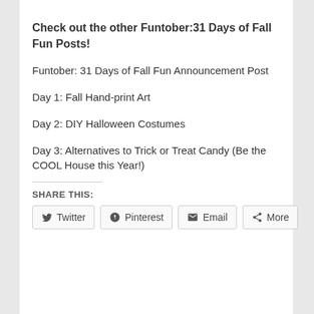Check out the other Funtober:31 Days of Fall Fun Posts!
Funtober: 31 Days of Fall Fun Announcement Post
Day 1: Fall Hand-print Art
Day 2: DIY Halloween Costumes
Day 3: Alternatives to Trick or Treat Candy (Be the COOL House this Year!)
SHARE THIS:
Twitter  Pinterest  Email  More